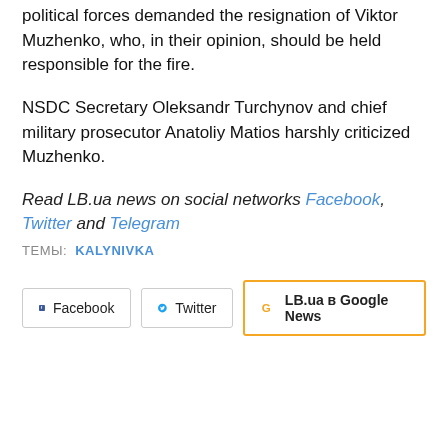political forces demanded the resignation of Viktor Muzhenko, who, in their opinion, should be held responsible for the fire.
NSDC Secretary Oleksandr Turchynov and chief military prosecutor Anatoliy Matios harshly criticized Muzhenko.
Read LB.ua news on social networks Facebook, Twitter and Telegram
ТЕМЫ: KALYNIVKA
[Figure (other): Social sharing buttons: Facebook, Twitter, LB.ua в Google News]